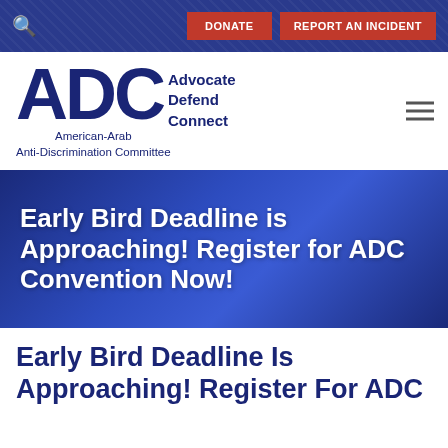DONATE | REPORT AN INCIDENT
[Figure (logo): ADC - Advocate Defend Connect - American-Arab Anti-Discrimination Committee logo]
Early Bird Deadline is Approaching! Register for ADC Convention Now!
Early Bird Deadline Is Approaching! Register For ADC Convention Now!